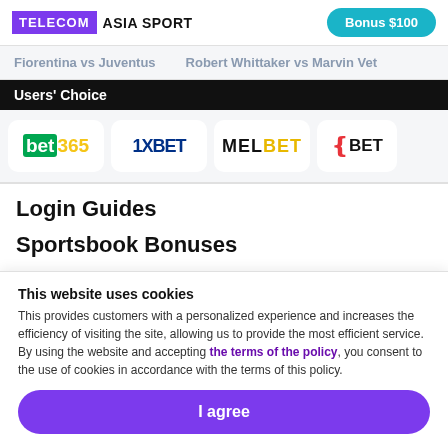TELECOM ASIA SPORT | Bonus $100
Fiorentina vs Juventus   Robert Whittaker vs Marvin Vet
Users' Choice
[Figure (logo): Row of bookmaker logos: bet365, 1XBET, MELBET, 22BET]
Login Guides
Sportsbook Bonuses
This website uses cookies
This provides customers with a personalized experience and increases the efficiency of visiting the site, allowing us to provide the most efficient service. By using the website and accepting the terms of the policy, you consent to the use of cookies in accordance with the terms of this policy.
I agree